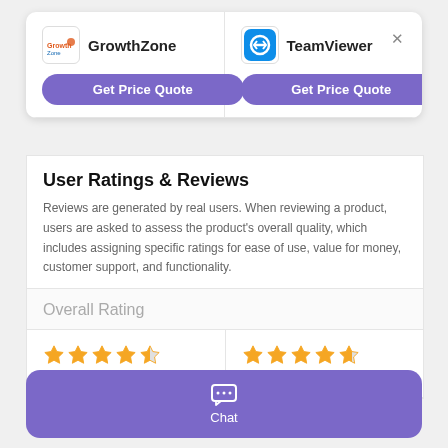[Figure (logo): GrowthZone logo]
GrowthZone
[Figure (logo): TeamViewer logo - blue rounded square with double arrow]
TeamViewer
Get Price Quote
Get Price Quote
User Ratings & Reviews
Reviews are generated by real users. When reviewing a product, users are asked to assess the product's overall quality, which includes assigning specific ratings for ease of use, value for money, customer support, and functionality.
Overall Rating
[Figure (other): 4.5 star rating (4.43/5) for GrowthZone]
4.43 / 5 (181)
[Figure (other): 4.5 star rating (4.63/5) for TeamViewer]
4.63 / 5 (10599)
Chat